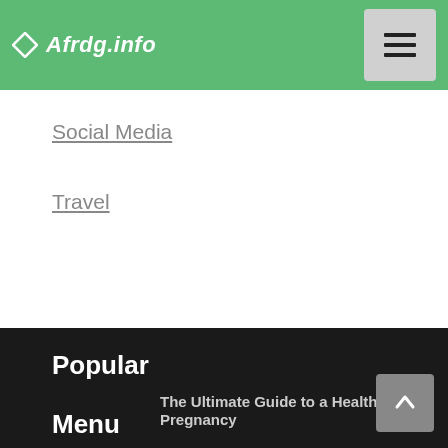Afrdg.info
Social Media
Travel
Popular
The Ultimate Guide to a Healthy Pregnancy
What Pregnant Women Should Eat
Menu